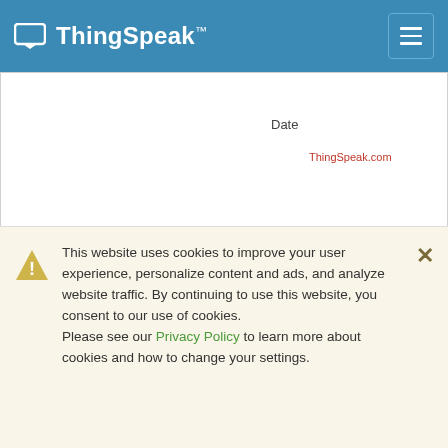ThingSpeak™
[Figure (continuous-plot): Partial view of a previous chart showing 'Date' x-axis label and ThingSpeak.com watermark in red]
Field 7 Chart
[Figure (continuous-plot): ThingSpeak Field 7 Chart titled TZ48-1, showing a line/scatter plot with y-axis label 'oller Temperature' (partial, cropped), y-axis tick at 10, and a red line with clustered data points descending from upper left to lower right]
This website uses cookies to improve your user experience, personalize content and ads, and analyze website traffic. By continuing to use this website, you consent to our use of cookies. Please see our Privacy Policy to learn more about cookies and how to change your settings.